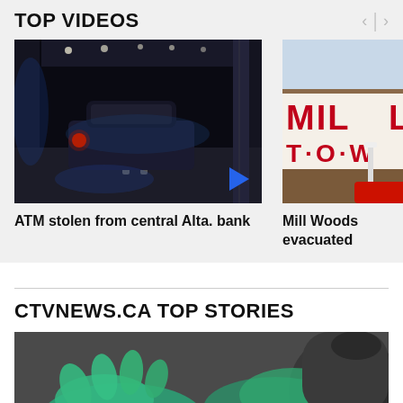TOP VIDEOS
[Figure (photo): Video thumbnail: dark tunnel scene with a car and motorcycle, red headlight visible, blue ambient lighting]
[Figure (photo): Video thumbnail: exterior of a building with red 'MILL TOWN' signage, partially cropped]
ATM stolen from central Alta. bank
Mill Woods evacuated
CTVNEWS.CA TOP STORIES
[Figure (photo): Close-up photo of gloved hands (teal/green gloves) handling an orange object near equipment]